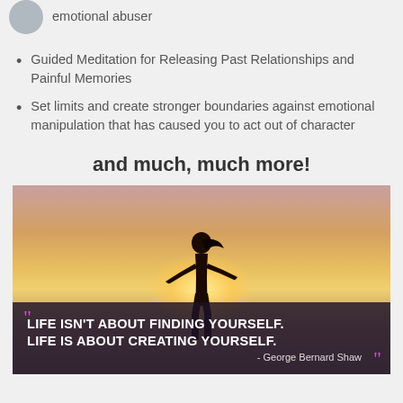emotional abuser
Guided Meditation for Releasing Past Relationships and Painful Memories
Set limits and create stronger boundaries against emotional manipulation that has caused you to act out of character
and much, much more!
[Figure (photo): Silhouette of a person with arms outstretched against a sunset sky, with an inspirational quote overlay: 'LIFE ISN'T ABOUT FINDING YOURSELF. LIFE IS ABOUT CREATING YOURSELF.' - George Bernard Shaw]